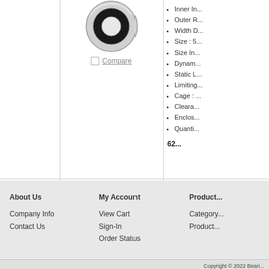[Figure (photo): Ball bearing product image showing a black sealed ball bearing in circular form, viewed from front]
Inner I...
Outer R...
Width D...
Size : 5...
Size In...
Dynam...
Static L...
Limiting...
Cage : ...
Cleara...
Enclos...
Quanti...
62...
more info
About Us
Company Info
Contact Us
My Account
View Cart
Sign-In
Order Status
Product...
Category...
Product...
Copyright © 2022  Beari...